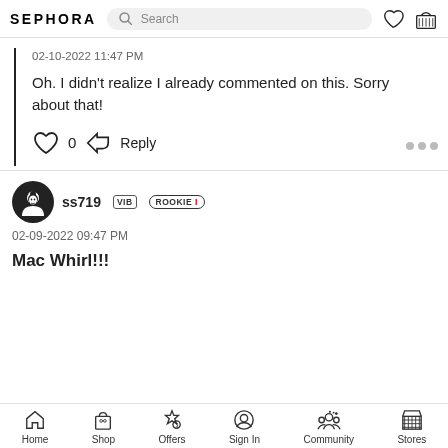SEPHORA Search
02-10-2022 11:47 PM
Oh. I didn't realize I already commented on this. Sorry about that!
0  Reply
ss719  VIB  ROOKIE I
02-09-2022 09:47 PM
Mac Whirl!!!
Home  Shop  Offers  Sign In  Community  Stores